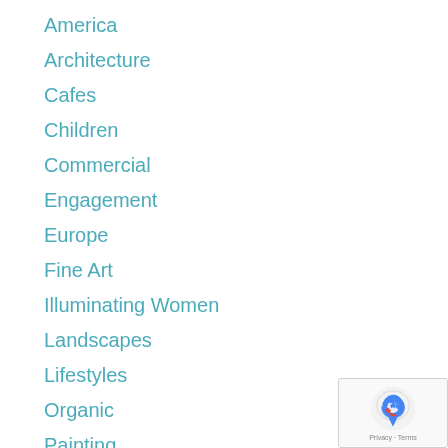America
Architecture
Cafes
Children
Commercial
Engagement
Europe
Fine Art
Illuminating Women
Landscapes
Lifestyles
Organic
Painting
Personal Projects
Portraits